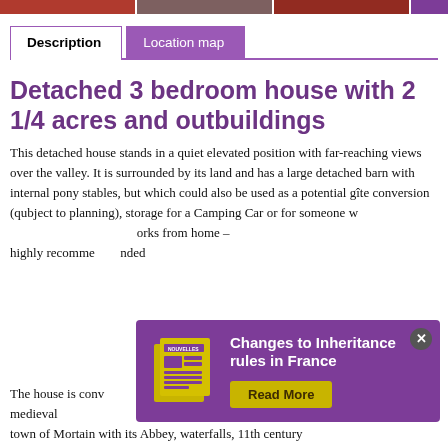[Figure (photo): Top strip of partial property photos in red and purple tones]
Description | Location map (tabs)
Detached 3 bedroom house with 2 1/4 acres and outbuildings
This detached house stands in a quiet elevated position with far-reaching views over the valley.  It is surrounded by its land and has a large detached barn with internal pony stables, but which could also be used as a potential gîte conversion (qubject to planning), storage for a Camping Car or for someone w... highly recomme...
[Figure (infographic): Purple popup banner: Changes to Inheritance rules in France with newspaper icon and Read More button]
The house is conv... town of Mortain with its Abbey, waterfalls, 11th century